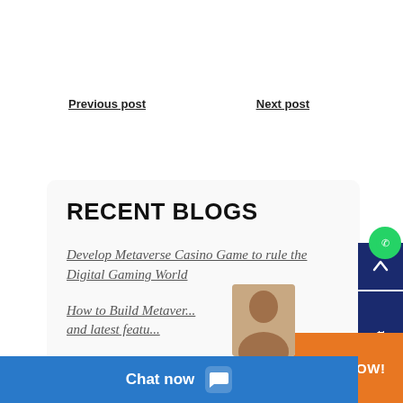Previous post
Next post
RECENT BLOGS
Develop Metaverse Casino Game to rule the Digital Gaming World
How to Build Metaverse ... and latest featu...